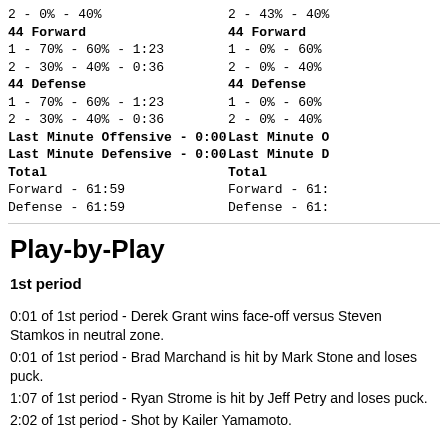2 - 0% - 40%
44 Forward
1 - 70% - 60% - 1:23
2 - 30% - 40% - 0:36
44 Defense
1 - 70% - 60% - 1:23
2 - 30% - 40% - 0:36
Last Minute Offensive  - 0:00
Last Minute Defensive  - 0:00
Total
Forward - 61:59
Defense - 61:59
2 - 43% - 40%
44 Forward
1 - 0% - 60%
2 - 0% - 40%
44 Defense
1 - 0% - 60%
2 - 0% - 40%
Last Minute O
Last Minute D
Total
Forward - 61:
Defense - 61:
Play-by-Play
1st period
0:01 of 1st period - Derek Grant wins face-off versus Steven Stamkos in neutral zone.
0:01 of 1st period - Brad Marchand is hit by Mark Stone and loses puck.
1:07 of 1st period - Ryan Strome is hit by Jeff Petry and loses puck.
2:02 of 1st period - Shot by Kailer Yamamoto.